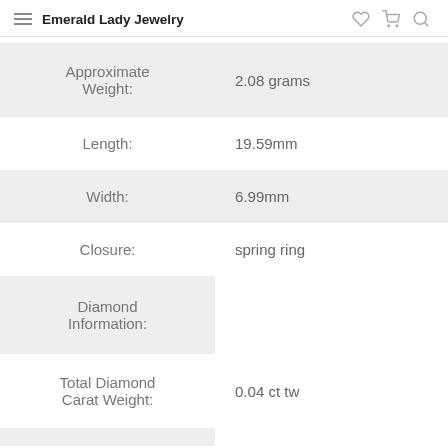Emerald Lady Jewelry
| Attribute | Value |
| --- | --- |
| Approximate Weight: | 2.08 grams |
| Length: | 19.59mm |
| Width: | 6.99mm |
| Closure: | spring ring |
| Diamond Information: |  |
| Total Diamond Carat Weight: | 0.04 ct tw |